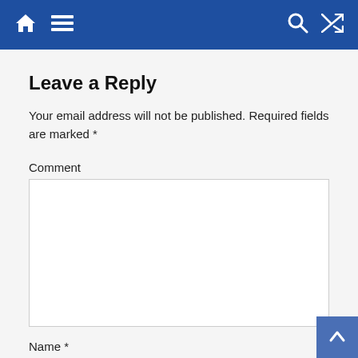[Navigation bar with home, menu, search, and shuffle icons]
Leave a Reply
Your email address will not be published. Required fields are marked *
Comment
Name *